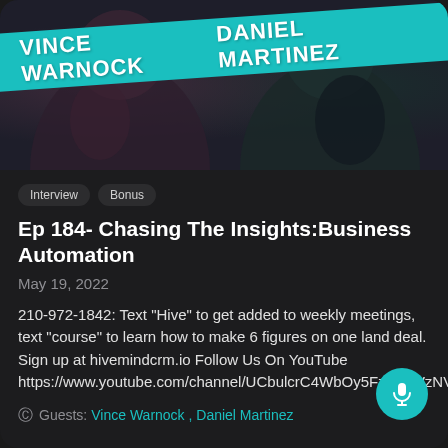[Figure (photo): Hero image with two people (Vince Warnock and Daniel Martinez) with a teal diagonal banner across showing their names in white bold text.]
Interview
Bonus
Ep 184- Chasing The Insights:Business Automation
May 19, 2022
210-972-1842: Text "Hive" to get added to weekly meetings, text "course" to learn how to make 6 figures on one land deal. Sign up at hivemindcrm.io Follow Us On YouTube https://www.youtube.com/channel/UCbulcrC4WbOy5Fzu0eWzNV...
Guests: Vince Warnock , Daniel Martinez